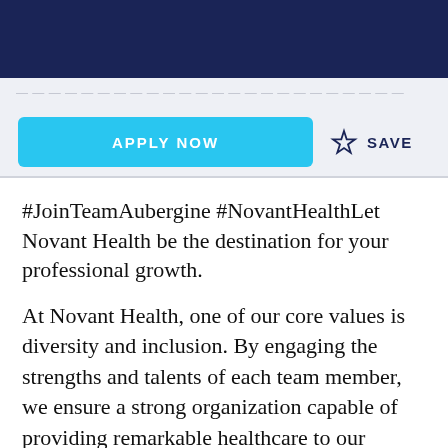[faded navigation/breadcrumb text]
APPLY NOW  ☆ SAVE
#JoinTeamAubergine #NovantHealthLet Novant Health be the destination for your professional growth.
At Novant Health, one of our core values is diversity and inclusion. By engaging the strengths and talents of each team member, we ensure a strong organization capable of providing remarkable healthcare to our patients, families and communities. Therefore, we invite applicants from all group dynamics to